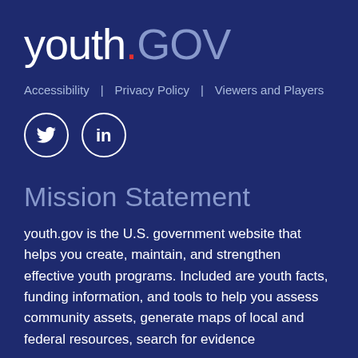youth.GOV
Accessibility | Privacy Policy | Viewers and Players
[Figure (logo): Twitter and LinkedIn social media icons as white circle outlines with white icons inside]
Mission Statement
youth.gov is the U.S. government website that helps you create, maintain, and strengthen effective youth programs. Included are youth facts, funding information, and tools to help you assess community assets, generate maps of local and federal resources, search for evidence